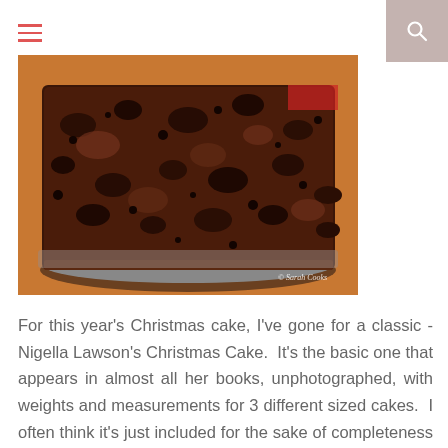≡  🔍
[Figure (photo): Close-up photograph of a dark Christmas fruit cake on a round tin/plate, showing the dense, dark, fruit-studded texture. Watermark reads '© Sarah Cooks' in bottom right corner.]
For this year's Christmas cake, I've gone for a classic - Nigella Lawson's Christmas Cake.  It's the basic one that appears in almost all her books, unphotographed, with weights and measurements for 3 different sized cakes.  I often think it's just included for the sake of completeness rather than any excitement